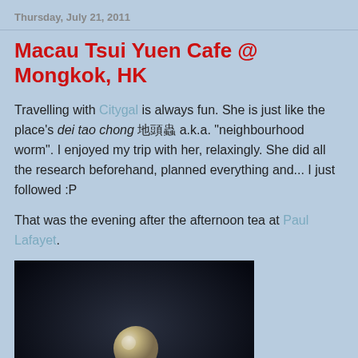Thursday, July 21, 2011
Macau Tsui Yuen Cafe @ Mongkok, HK
Travelling with Citygal is always fun. She is just like the place's dei tao chong 地頭蟲 a.k.a. "neighbourhood worm". I enjoyed my trip with her, relaxingly. She did all the research beforehand, planned everything and... I just followed :P
That was the evening after the afternoon tea at Paul Lafayet.
[Figure (photo): A close-up photo of what appears to be a decorative or artistic object resembling a spoon or abstract sculpture with a round ball on top, photographed against a dark background.]